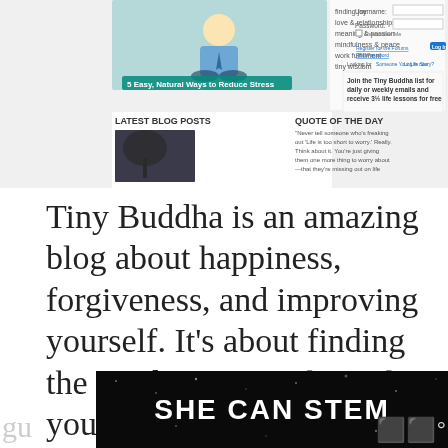[Figure (screenshot): Screenshot of the Tiny Buddha website showing navigation, blog posts section, quote of the day, and login form]
Tiny Buddha is an amazing blog about happiness, forgiveness, and improving yourself. It’s about finding the wisdom to get through your life with meaning, passion, and joy. There are so many hundreds of articles on here by hundreds of different authors and
[Figure (infographic): Overlay UI elements: teal heart like button, share count 513, share icon button, and 'What's Next' promo box for '5 Self Help Concepts Th...']
[Figure (photo): Bottom advertisement banner with black background showing 'SHE CAN STEM' text in white bold letters]